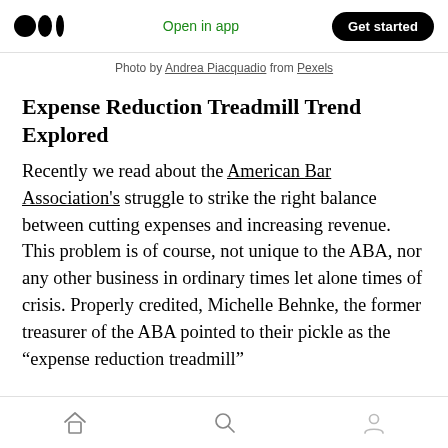Medium app navigation bar with logo, Open in app, Get started
Photo by Andrea Piacquadio from Pexels
Expense Reduction Treadmill Trend Explored
Recently we read about the American Bar Association's struggle to strike the right balance between cutting expenses and increasing revenue. This problem is of course, not unique to the ABA, nor any other business in ordinary times let alone times of crisis. Properly credited, Michelle Behnke, the former treasurer of the ABA pointed to their pickle as the “expense reduction treadmill”
Home, Search, Profile navigation icons